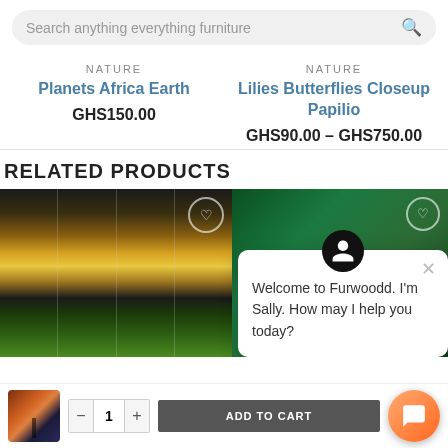Search anything everything furniture
NATURE
Planets Africa Earth
GHS150.00
NATURE
Lilies Butterflies Closeup Papilio
GHS90.00 – GHS750.00
RELATED PRODUCTS
[Figure (photo): Multi-panel nature/landscape artwork showing dramatic cloudy sunset sky with green field]
[Figure (photo): Green background product image showing white chair]
Welcome to Furwoodd. I'm Sally. How may I help you today?
[Figure (photo): Small thumbnail of product at sunset]
- 1 + ADD TO CART